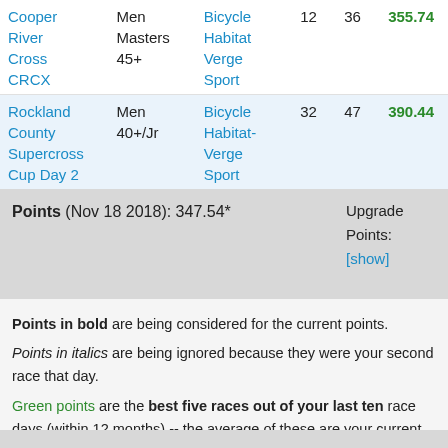| Event | Category | Discipline | Starters | Finishers | Points |
| --- | --- | --- | --- | --- | --- |
| Cooper River Cross CRCX | Men Masters 45+ | Bicycle Habitat Verge Sport | 12 | 36 | 355.74 |
| Rockland County Supercross Cup Day 2 | Men 40+/Jr | Bicycle Habitat- Verge Sport | 32 | 47 | 390.44 |
Points (Nov 18 2018): 347.54*   Upgrade Points: [show]
Points in bold are being considered for the current points.
Points in italics are being ignored because they were your second race that day.
Green points are the best five races out of your last ten race days (within 12 months) -- the average of these are your current points.